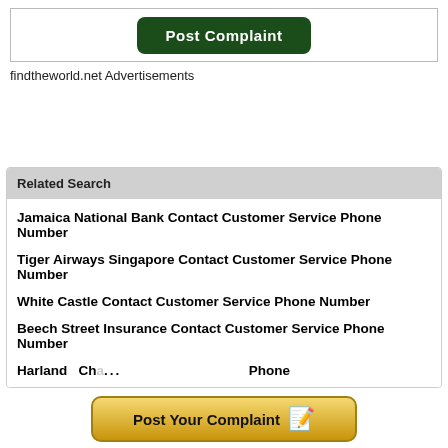[Figure (screenshot): Green 'Post Complaint' button inside a bordered box]
findtheworld.net Advertisements
Related Search
Jamaica National Bank Contact Customer Service Phone Number
Tiger Airways Singapore Contact Customer Service Phone Number
White Castle Contact Customer Service Phone Number
Beech Street Insurance Contact Customer Service Phone Number
Harland Cha... Phone
[Figure (screenshot): Golden 'Post Your Complaint' button with pencil icon]